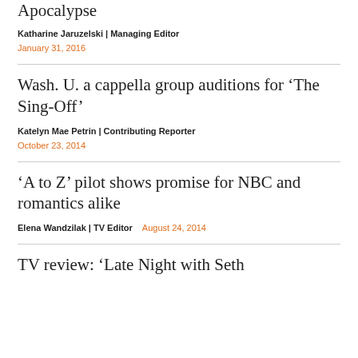Apocalypse
Katharine Jaruzelski | Managing Editor
January 31, 2016
Wash. U. a cappella group auditions for ‘The Sing-Off’
Katelyn Mae Petrin | Contributing Reporter
October 23, 2014
‘A to Z’ pilot shows promise for NBC and romantics alike
Elena Wandzilak | TV Editor   August 24, 2014
TV review: ‘Late Night with Seth